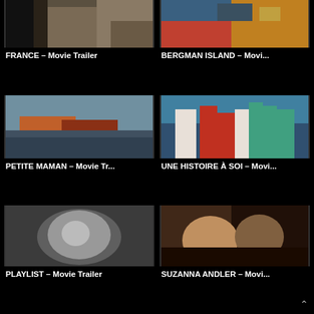[Figure (screenshot): Movie thumbnail for FRANCE - a person standing near rocky cliff, partial view, dark tones]
FRANCE – Movie Trailer
[Figure (screenshot): Movie thumbnail for BERGMAN ISLAND - two people on a sailboat, blue and yellow jackets]
BERGMAN ISLAND – Movi...
[Figure (screenshot): Movie thumbnail for PETITE MAMAN - two young girls with long hair sitting outdoors near water]
PETITE MAMAN – Movie Tr...
[Figure (screenshot): Movie thumbnail for UNE HISTOIRE À SOI - group of children standing outdoors near rocky coastline]
UNE HISTOIRE À SOI – Movi...
[Figure (screenshot): Movie thumbnail for PLAYLIST - black and white photo of a smiling woman]
PLAYLIST – Movie Trailer
[Figure (screenshot): Movie thumbnail for SUZANNA ANDLER - two people close together about to kiss, romantic scene]
SUZANNA ANDLER – Movi...